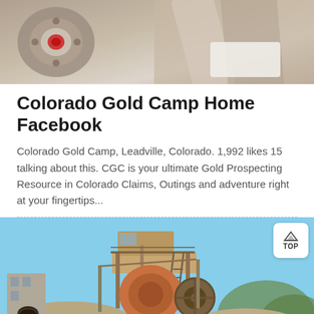[Figure (photo): Close-up photo of mechanical/industrial equipment parts with grey and reddish tones]
Colorado Gold Camp Home Facebook
Colorado Gold Camp, Leadville, Colorado. 1,992 likes 15 talking about this. CGC is your ultimate Gold Prospecting Resource in Colorado Claims, Outings and adventure right at your fingertips...
[Figure (photo): Outdoor photo of a large mining/crushing machine at a quarry or mining site, with blue sky, stone buildings and rocky terrain in background]
Message
Online Chat